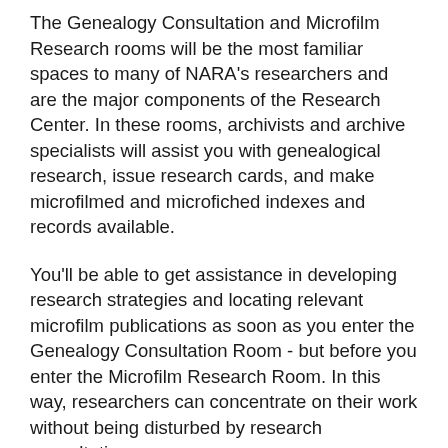The Genealogy Consultation and Microfilm Research rooms will be the most familiar spaces to many of NARA's researchers and are the major components of the Research Center. In these rooms, archivists and archive specialists will assist you with genealogical research, issue research cards, and make microfilmed and microfiched indexes and records available.
You'll be able to get assistance in developing research strategies and locating relevant microfilm publications as soon as you enter the Genealogy Consultation Room - but before you enter the Microfilm Research Room. In this way, researchers can concentrate on their work without being disturbed by research consultations.
Also in the Genealogy Consultation Room, you'll have access to computers to consult online finding aids. In addition, you'll have access to an array of printed "search paths." These include staff-prepared search paths on topics relating to military service, the African American experience,